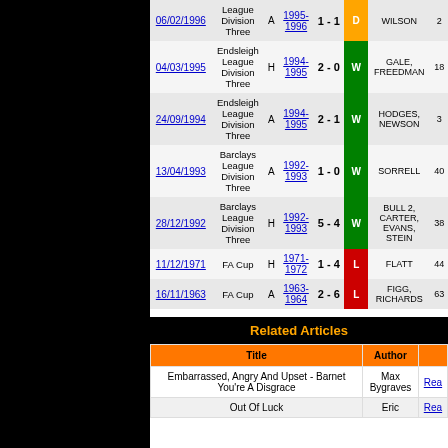| Date | Competition | H/A | Season | Score | Result | Scorers | Att |
| --- | --- | --- | --- | --- | --- | --- | --- |
| 06/02/1996 | League Division Three | A | 1995-1996 | 1 - 1 | D | WILSON | 22 |
| 04/03/1995 | Endsleigh League Division Three | H | 1994-1995 | 2 - 0 | W | GALE, FREEDMAN | 18 |
| 24/09/1994 | Endsleigh League Division Three | A | 1994-1995 | 2 - 1 | W | HODGES, NEWSON | 32 |
| 13/04/1993 | Barclays League Division Three | A | 1992-1993 | 1 - 0 | W | SORRELL | 40 |
| 28/12/1992 | Barclays League Division Three | H | 1992-1993 | 5 - 4 | W | BULL 2, CARTER, EVANS, STEIN | 38 |
| 11/12/1971 | FA Cup | H | 1971-1972 | 1 - 4 | L | FLATT | 44 |
| 16/11/1963 | FA Cup | A | 1963-1964 | 2 - 6 | L | FIGG, RICHARDS | 63 |
Related Articles
| Title | Author |  |
| --- | --- | --- |
| Embarrassed, Angry And Upset - Barnet You're A Disgrace | Max Bygraves | Read |
| Out Of Luck | Eric | Read |